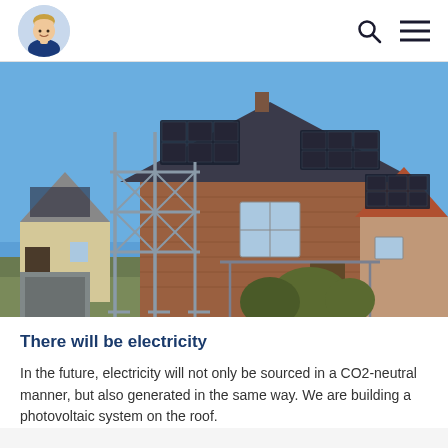[Avatar icon, search icon, menu icon]
[Figure (photo): Photograph of a residential house with solar panels installed on the roof. Scaffolding is erected on the left side of the house. The house is brick-built with a steep roof. A neighbor's house with solar panels is visible on the right. Clear blue sky in the background.]
There will be electricity
In the future, electricity will not only be sourced in a CO2-neutral manner, but also generated in the same way. We are building a photovoltaic system on the roof.